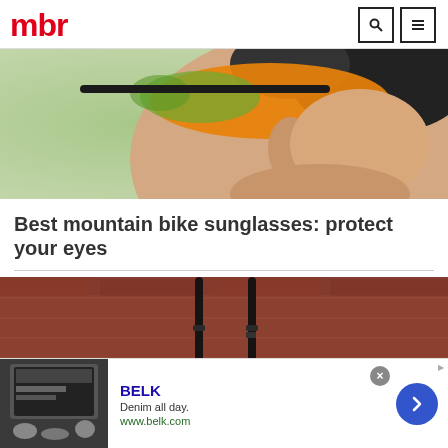mbr
[Figure (photo): Close-up of a cyclist's face wearing orange-tinted sunglasses and a helmet, outdoors with blurred green background]
Best mountain bike sunglasses: protect your eyes
[Figure (photo): Mountain bike sunglasses with black frames hanging against a red brick wall background]
[Figure (infographic): Advertisement for BELK: Denim all day. www.belk.com — with close button and navigation arrow]